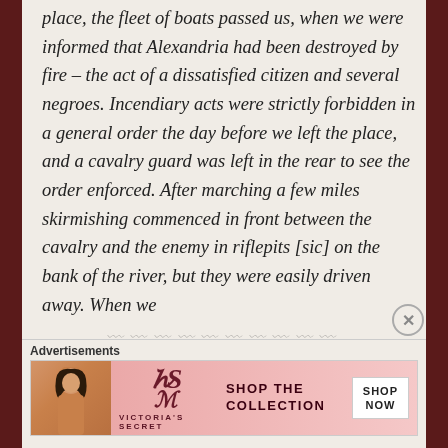place, the fleet of boats passed us, when we were informed that Alexandria had been destroyed by fire – the act of a dissatisfied citizen and several negroes. Incendiary acts were strictly forbidden in a general order the day before we left the place, and a cavalry guard was left in the rear to see the order enforced. After marching a few miles skirmishing commenced in front between the cavalry and the enemy in riflepits [sic] on the bank of the river, but they were easily driven away. When we
[Figure (other): Victoria's Secret advertisement banner showing a model on the left, the VS logo in the center, 'SHOP THE COLLECTION' text, and a 'SHOP NOW' button on the right against a pink background.]